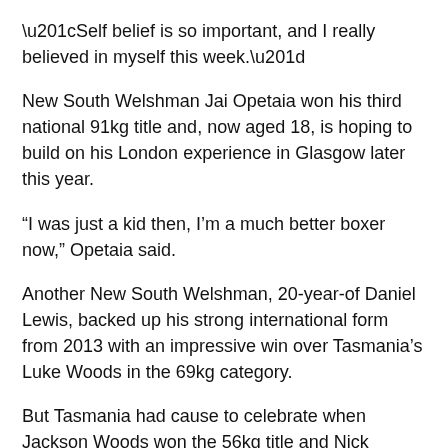“Self belief is so important, and I really believed in myself this week.”
New South Welshman Jai Opetaia won his third national 91kg title and, now aged 18, is hoping to build on his London experience in Glasgow later this year.
“I was just a kid then, I’m a much better boxer now,” Opetaia said.
Another New South Welshman, 20-year-of Daniel Lewis, backed up his strong international form from 2013 with an impressive win over Tasmania’s Luke Woods in the 69kg category.
But Tasmania had cause to celebrate when Jackson Woods won the 56kg title and Nick Cooney triumphed in the 60kg class.
The dream of Victorian twins Andrew and Jason Moloney to compete at a second consecutive Commonwealth Games